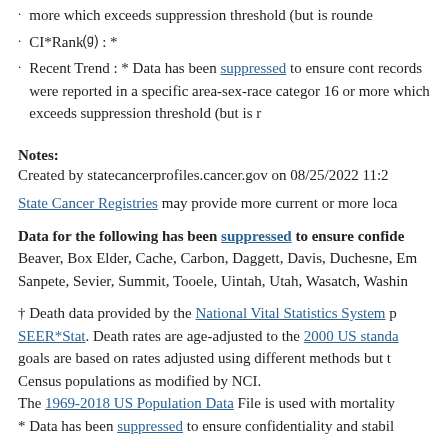more which exceeds suppression threshold (but is rounde
CI*Rankⓢ : *
Recent Trend : * Data has been suppressed to ensure cont records were reported in a specific area-sex-race category 16 or more which exceeds suppression threshold (but is r
Notes:
Created by statecancerprofiles.cancer.gov on 08/25/2022 11:2
State Cancer Registries may provide more current or more loca
Data for the following has been suppressed to ensure confide Beaver, Box Elder, Cache, Carbon, Daggett, Davis, Duchesne, Em Sanpete, Sevier, Summit, Tooele, Uintah, Utah, Wasatch, Washin
† Death data provided by the National Vital Statistics System p SEER*Stat. Death rates are age-adjusted to the 2000 US standa goals are based on rates adjusted using different methods but t Census populations as modified by NCI. The 1969-2018 US Population Data File is used with mortality * Data has been suppressed to ensure confidentiality and stabil